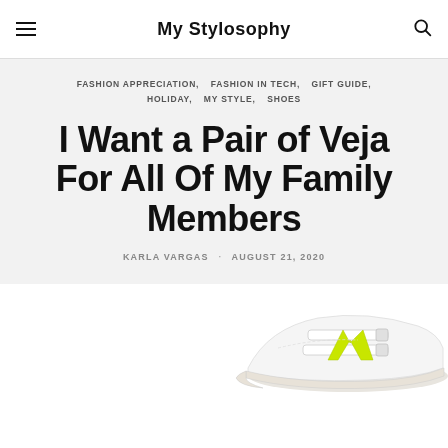My Stylosophy
FASHION APPRECIATION, FASHION IN TECH, GIFT GUIDE, HOLIDAY, MY STYLE, SHOES
I Want a Pair of Veja For All Of My Family Members
KARLA VARGAS · AUGUST 21, 2020
[Figure (photo): White Veja sneakers with neon yellow-green V logo and velcro straps, partially visible from the right side of the page]